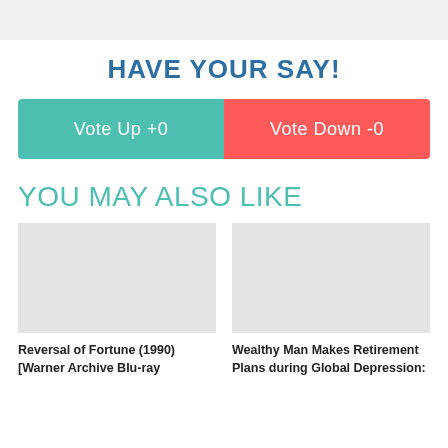[Figure (other): Light gray top bar / image placeholder at top of page]
HAVE YOUR SAY!
[Figure (infographic): Two-button voting widget: 'Vote Up +0' (teal left half) and 'Vote Down -0' (red right half)]
YOU MAY ALSO LIKE
[Figure (photo): Placeholder image for article: Reversal of Fortune (1990)]
Reversal of Fortune (1990) [Warner Archive Blu-ray
[Figure (photo): Placeholder image for article: Wealthy Man Makes Retirement Plans during Global Depression]
Wealthy Man Makes Retirement Plans during Global Depression: